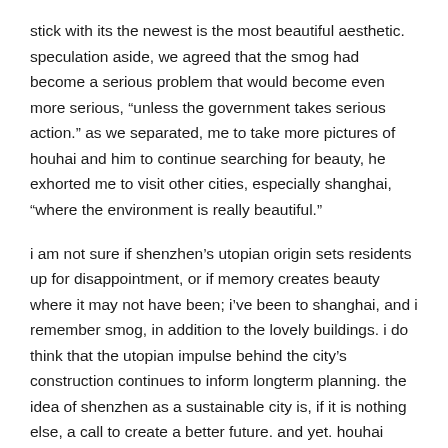stick with its the newest is the most beautiful aesthetic. speculation aside, we agreed that the smog had become a serious problem that would become even more serious, “unless the government takes serious action.” as we separated, me to take more pictures of houhai and him to continue searching for beauty, he exhorted me to visit other cities, especially shanghai, “where the environment is really beautiful.”
i am not sure if shenzhen’s utopian origin sets residents up for disappointment, or if memory creates beauty where it may not have been; i’ve been to shanghai, and i remember smog, in addition to the lovely buildings. i do think that the utopian impulse behind the city’s construction continues to inform longterm planning. the idea of shenzhen as a sustainable city is, if it is nothing else, a call to create a better future. and yet. houhai continues to transform the south china environment and climate at a pace unplanned, and more than likely, with unforeseeable environmental consequences.
pictures of plants and smog here.